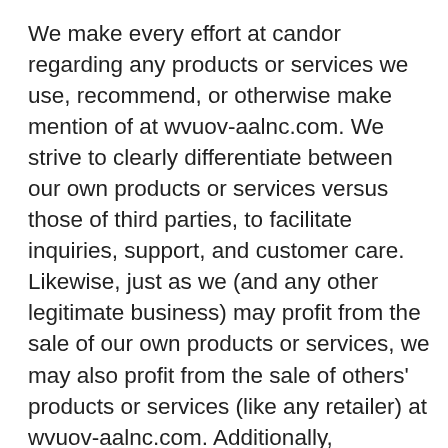We make every effort at candor regarding any products or services we use, recommend, or otherwise make mention of at wvuov-aalnc.com. We strive to clearly differentiate between our own products or services versus those of third parties, to facilitate inquiries, support, and customer care. Likewise, just as we (and any other legitimate business) may profit from the sale of our own products or services, we may also profit from the sale of others' products or services (like any retailer) at wvuov-aalnc.com. Additionally, wherever products or services may give rise to income generation, we endeavor to provide realistic and factual data, but highlight the fact that the variables impacting results are so numerous and uncontrollable that no guarantees are in any way made. It is our goal to embrace the guidelines